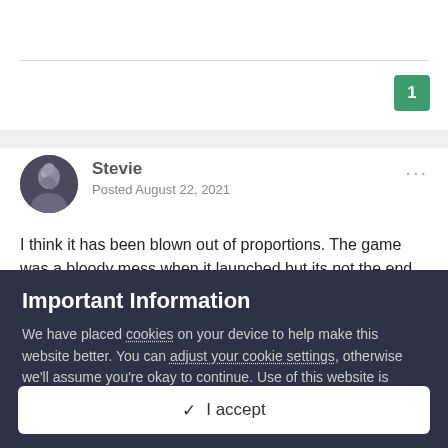1
Stevie
Posted August 22, 2021
I think it has been blown out of proportions. The game was a bloody mess when it launched but its not the end of the world.
Important Information
We have placed cookies on your device to help make this website better. You can adjust your cookie settings, otherwise we'll assume you're okay to continue. Use of this website is subject to our Privacy Policy, Terms of Use, and Guidelines.
✓  I accept